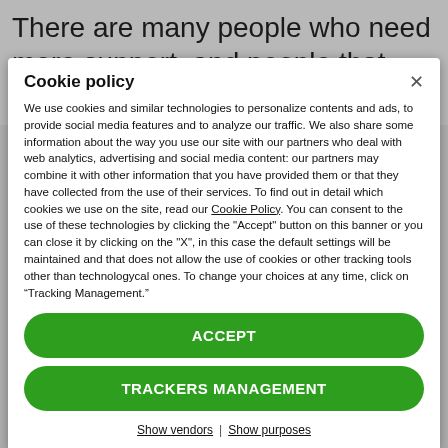There are many people who need more support, and people that were involved in cases similar to
Cookie policy
We use cookies and similar technologies to personalize contents and ads, to provide social media features and to analyze our traffic. We also share some information about the way you use our site with our partners who deal with web analytics, advertising and social media content: our partners may combine it with other information that you have provided them or that they have collected from the use of their services. To find out in detail which cookies we use on the site, read our Cookie Policy. You can consent to the use of these technologies by clicking the "Accept" button on this banner or you can close it by clicking on the "X", in this case the default settings will be maintained and that does not allow the use of cookies or other tracking tools other than technologycal ones. To change your choices at any time, click on “Tracking Management.”
ACCEPT
TRACKERS MANAGEMENT
Show vendors | Show purposes